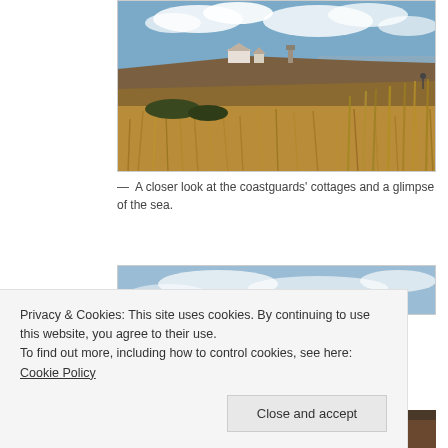[Figure (photo): Coastal landscape photo showing golden brown grasses and reeds in the foreground, with coastguard cottages and a water tower on a clifftop in the background, blue sky with clouds, and a glimpse of the sea to the right.]
— A closer look at the coastguards' cottages and a glimpse of the sea.
[Figure (photo): Partial view of a second coastal photo showing blue sky with light clouds.]
Privacy & Cookies: This site uses cookies. By continuing to use this website, you agree to their use.
To find out more, including how to control cookies, see here: Cookie Policy
[Figure (photo): Partial strip of a third photo showing dark tones, possibly rocks or ground close-up.]